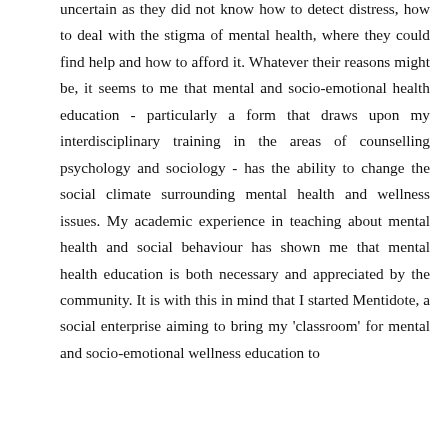uncertain as they did not know how to detect distress, how to deal with the stigma of mental health, where they could find help and how to afford it. Whatever their reasons might be, it seems to me that mental and socio-emotional health education - particularly a form that draws upon my interdisciplinary training in the areas of counselling psychology and sociology - has the ability to change the social climate surrounding mental health and wellness issues. My academic experience in teaching about mental health and social behaviour has shown me that mental health education is both necessary and appreciated by the community. It is with this in mind that I started Mentidote, a social enterprise aiming to bring my 'classroom' for mental and socio-emotional wellness education to